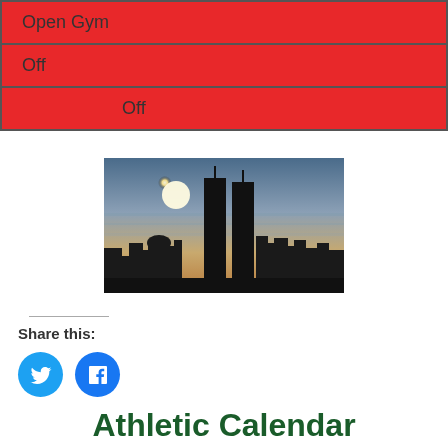| Open Gym |
| Off |
| Off |
[Figure (photo): Silhouette of the Twin Towers (World Trade Center) against a dramatic sunset sky with a bright sun and city skyline below.]
Share this:
[Figure (other): Twitter and Facebook social share buttons (circular blue icons)]
Athletic Calendar